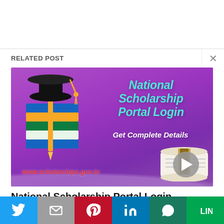RELATED POST
[Figure (illustration): National Scholarship Portal Login banner image with purple background, graduation cap on books, diploma scroll, and text 'National Scholarship Portal Login Get Complete Details www.scholarships.gov.in']
National Scholarship Portal Login